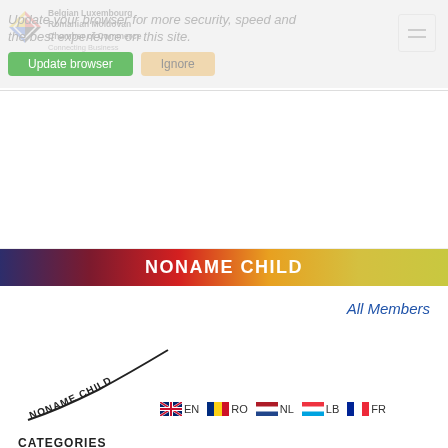Belgian Luxembourg Romanian Moldovan Chamber of Commerce
Connecting Business
Update your browser for more security, speed and the best experience on this site.
NONAME CHILD
All Members
[Figure (logo): NONAME CHILD brand logo with curved swoosh line and text]
EN  RO  NL  LB  FR
CATEGORIES